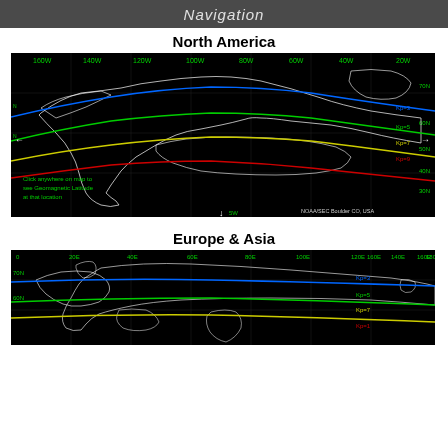Navigation
North America
[Figure (map): Geomagnetic latitude map of North America showing Kp index contour lines (Kp=3 blue, Kp=5 green, Kp=7 yellow, Kp=9 red) overlaid on a black background map with longitude labels (160W to 20W) and latitude labels (30N to 70N). Text reads: Click anywhere on map to see Geomagnetic Latitude at that location. NOAA/SEC Boulder CO, USA credit shown.]
Europe & Asia
[Figure (map): Geomagnetic latitude map of Europe and Asia showing Kp index contour lines (Kp=3 blue, Kp=5 green, Kp=7 yellow) on a black background map with longitude labels (0 to 180E) and latitude labels. Partial view cut off at bottom.]